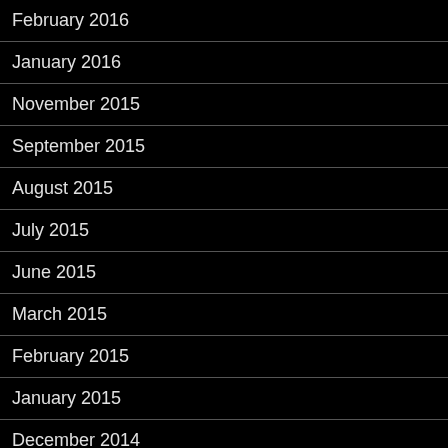February 2016
January 2016
November 2015
September 2015
August 2015
July 2015
June 2015
March 2015
February 2015
January 2015
December 2014
November 2014
August 2014